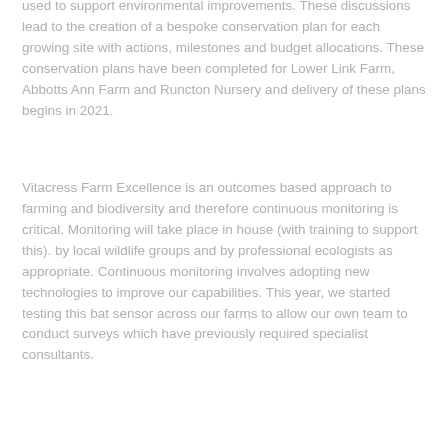used to support environmental improvements. These discussions lead to the creation of a bespoke conservation plan for each growing site with actions, milestones and budget allocations. These conservation plans have been completed for Lower Link Farm, Abbotts Ann Farm and Runcton Nursery and delivery of these plans begins in 2021.
Vitacress Farm Excellence is an outcomes based approach to farming and biodiversity and therefore continuous monitoring is critical. Monitoring will take place in house (with training to support this). by local wildlife groups and by professional ecologists as appropriate. Continuous monitoring involves adopting new technologies to improve our capabilities. This year, we started testing this bat sensor across our farms to allow our own team to conduct surveys which have previously required specialist consultants.